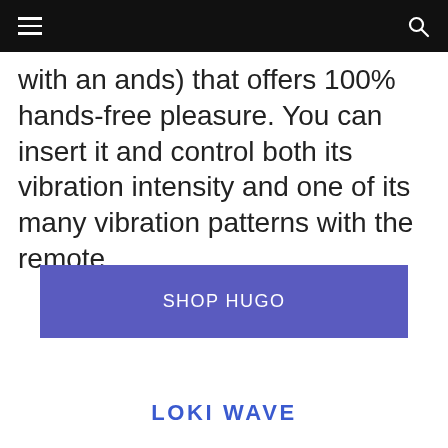Navigation bar with hamburger menu and search icon
with an ands) that offers 100% hands-free pleasure. You can insert it and control both its vibration intensity and one of its many vibration patterns with the remote.
SHOP HUGO
LOKI WAVE